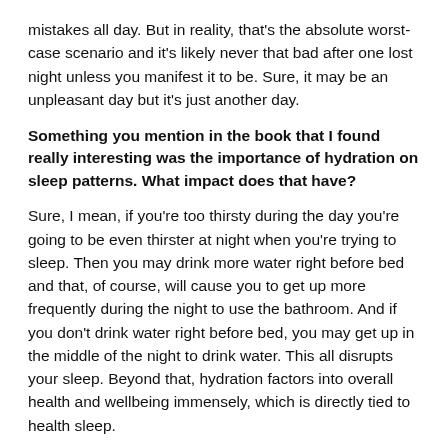mistakes all day. But in reality, that's the absolute worst-case scenario and it's likely never that bad after one lost night unless you manifest it to be. Sure, it may be an unpleasant day but it's just another day.
Something you mention in the book that I found really interesting was the importance of hydration on sleep patterns. What impact does that have?
Sure, I mean, if you're too thirsty during the day you're going to be even thirster at night when you're trying to sleep. Then you may drink more water right before bed and that, of course, will cause you to get up more frequently during the night to use the bathroom. And if you don't drink water right before bed, you may get up in the middle of the night to drink water. This all disrupts your sleep. Beyond that, hydration factors into overall health and wellbeing immensely, which is directly tied to health sleep.
Is that also why The Book Of Sleep advises against caffeine?
Well, mostly I say to limit caffeine because it keeping you awake and